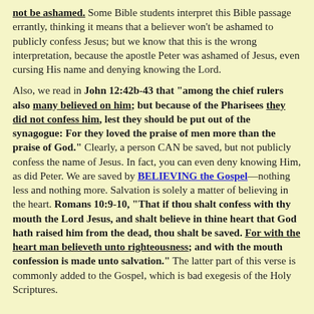not be ashamed. Some Bible students interpret this Bible passage errantly, thinking it means that a believer won't be ashamed to publicly confess Jesus; but we know that this is the wrong interpretation, because the apostle Peter was ashamed of Jesus, even cursing His name and denying knowing the Lord.
Also, we read in John 12:42b-43 that "among the chief rulers also many believed on him; but because of the Pharisees they did not confess him, lest they should be put out of the synagogue: For they loved the praise of men more than the praise of God." Clearly, a person CAN be saved, but not publicly confess the name of Jesus. In fact, you can even deny knowing Him, as did Peter. We are saved by BELIEVING the Gospel—nothing less and nothing more. Salvation is solely a matter of believing in the heart. Romans 10:9-10, "That if thou shalt confess with thy mouth the Lord Jesus, and shalt believe in thine heart that God hath raised him from the dead, thou shalt be saved. For with the heart man believeth unto righteousness; and with the mouth confession is made unto salvation." The latter part of this verse is commonly added to the Gospel, which is bad exegesis of the Holy Scriptures.